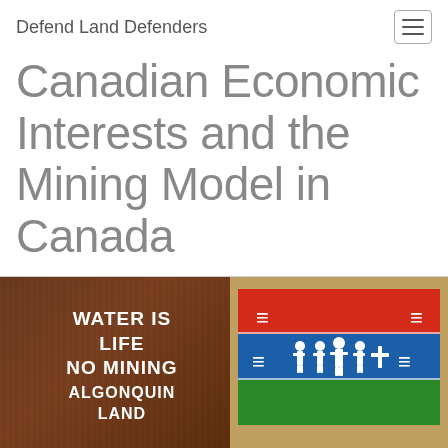Defend Land Defenders
Canadian Economic Interests and the Mining Model in Canada
[Figure (photo): Two-panel image: left side shows a brown wooden sign reading 'WATER IS LIFE / NO MINING / ALGONQUIN LAND' in white bold text; right side shows a flag with red, blue, and green horizontal stripes featuring white human figures and symbols, likely the Algonquin Nation flag.]
Since 2016 the Algonquins of Barriere Lake have had a land protection camp in place to prevent mining company Copper One from drilling. Photo: